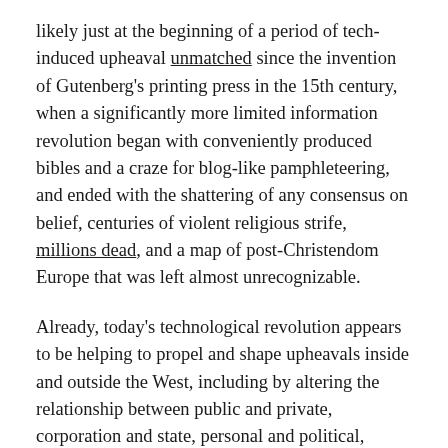likely just at the beginning of a period of tech-induced upheaval unmatched since the invention of Gutenberg's printing press in the 15th century, when a significantly more limited information revolution began with conveniently produced bibles and a craze for blog-like pamphleteering, and ended with the shattering of any consensus on belief, centuries of violent religious strife, millions dead, and a map of post-Christendom Europe that was left almost unrecognizable.
Already, today's technological revolution appears to be helping to propel and shape upheavals inside and outside the West, including by altering the relationship between public and private, corporation and state, personal and political, media and social media, labor and capital, and more – including ultimately the dividing line between truth and falsehood. This creates